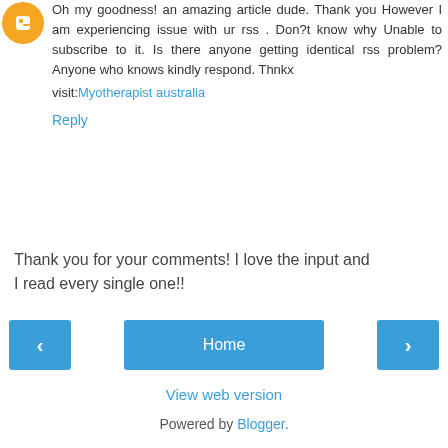[Figure (logo): Orange circular avatar/blogger icon]
Oh my goodness! an amazing article dude. Thank you However I am experiencing issue with ur rss . Don?t know why Unable to subscribe to it. Is there anyone getting identical rss problem? Anyone who knows kindly respond. Thnkx
visit:Myotherapist australia
Reply
Thank you for your comments! I love the input and I read every single one!!
‹
Home
›
View web version
Powered by Blogger.